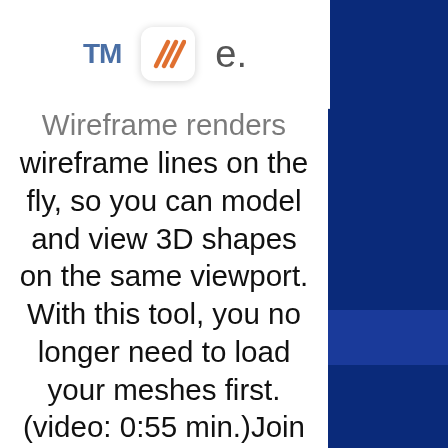TM [icon] e.
Wireframe renders wireframe lines on the fly, so you can model and view 3D shapes on the same viewport. With this tool, you no longer need to load your meshes first. (video: 0:55 min.)Join 1,000+ users already enjoying the benefits of Wireframe. Get started for